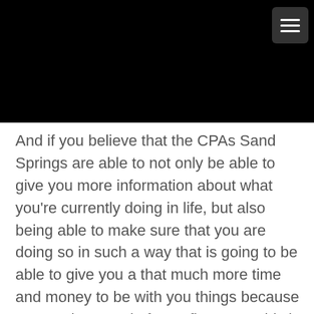[Figure (screenshot): Black header bar with a dark gray hamburger menu button (three white horizontal lines) in the top-right corner]
And if you believe that the CPAs Sand Springs are able to not only be able to give you more information about what you're currently doing in life, but also being able to make sure that you are doing so in such a way that is going to be able to give you a that much more time and money to be with you things because you are in control of your finances. This is something that is very important many people do you actually take into consideration and it in some cases